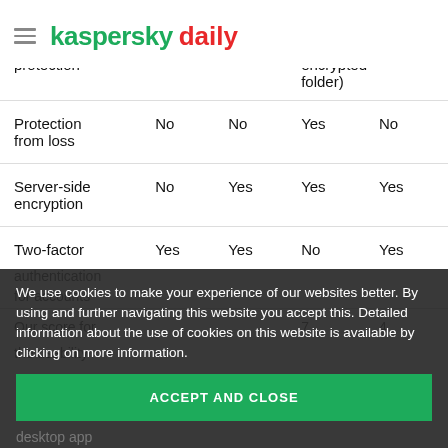kaspersky daily
| Feature | Col1 | Col2 | Col3 | Col4 |
| --- | --- | --- | --- | --- |
| protection |  |  | encrypted folder) |  |
| Protection from loss | No | No | Yes | No |
| Server-side encryption | No | Yes | Yes | Yes |
| Two-factor authentication for accounts | Yes | Yes | No | Yes |
| Our score for the usability |  |  | 7 | 4 |
| desktop app |  |  |  |  |
We use cookies to make your experience of our websites better. By using and further navigating this website you accept this. Detailed information about the use of cookies on this website is available by clicking on more information.
ACCEPT AND CLOSE